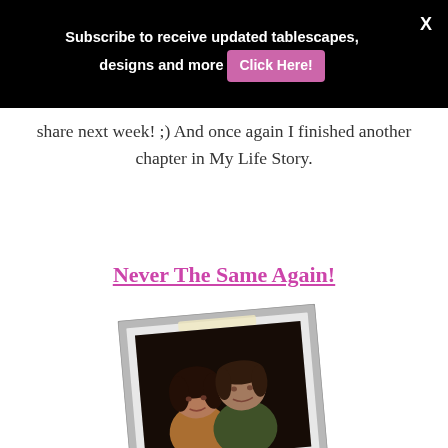Subscribe to receive updated tablescapes, designs and more  [Click Here!]  X
share next week! ;) And once again I finished another chapter in My Life Story.
Never The Same Again!
[Figure (photo): Old polaroid-style photo of a young couple, slightly tilted, with a gray border frame]